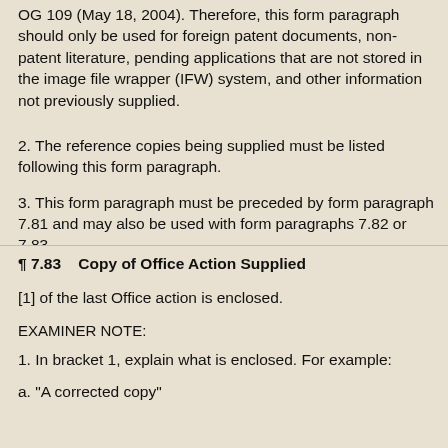OG 109 (May 18, 2004). Therefore, this form paragraph should only be used for foreign patent documents, non-patent literature, pending applications that are not stored in the image file wrapper (IFW) system, and other information not previously supplied.
2. The reference copies being supplied must be listed following this form paragraph.
3. This form paragraph must be preceded by form paragraph 7.81 and may also be used with form paragraphs 7.82 or 7.83.
¶ 7.83    Copy of Office Action Supplied
[1] of the last Office action is enclosed.
EXAMINER NOTE:
1. In bracket 1, explain what is enclosed. For example:
a. "A corrected copy"